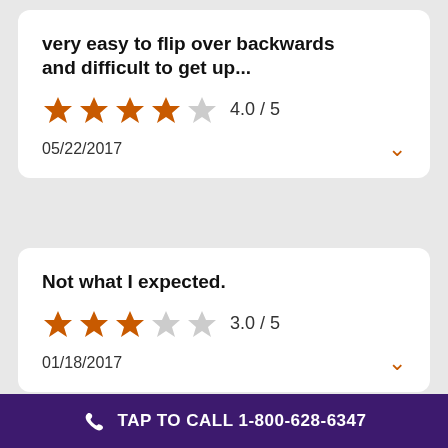very easy to flip over backwards and difficult to get up...
4.0/5
05/22/2017
Not what I expected.
3.0/5
01/18/2017
TAP TO CALL 1-800-628-6347